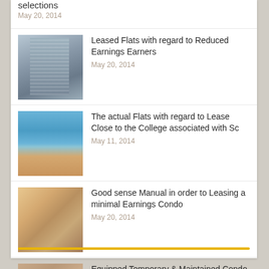selections
May 20, 2014
Leased Flats with regard to Reduced Earnings Earners
May 20, 2014
The actual Flats with regard to Lease Close to the College associated with Sc
May 11, 2014
Good sense Manual in order to Leasing a minimal Earnings Condo
May 20, 2014
Equipped Temporary & Maintained Condo Rental fees With regard to Singapore
May 20, 2014